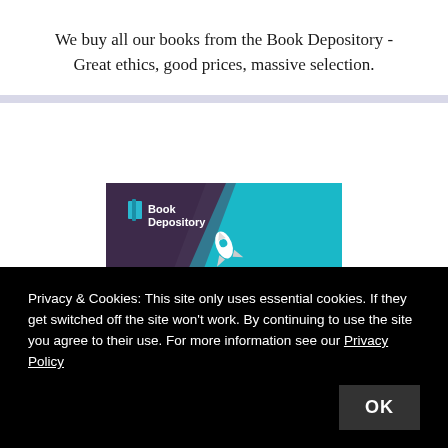We buy all our books from the Book Depository - Great ethics, good prices, massive selection.
[Figure (illustration): Book Depository banner advertisement showing logo, rocket icon, 'FREE DELIVERY WORLDWIDE' text, and '10 MILLION' text on a teal and dark purple diagonal background.]
Privacy & Cookies: This site only uses essential cookies. If they get switched off the site won't work. By continuing to use the site you agree to their use. For more information see our Privacy Policy